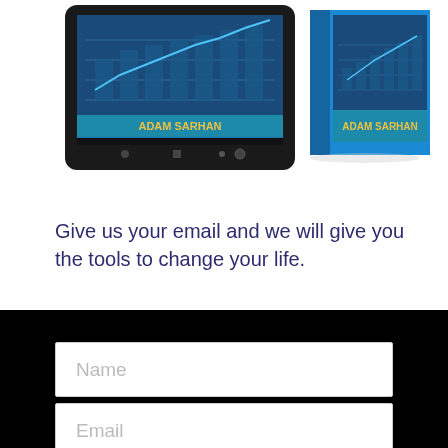[Figure (photo): Two book covers displayed — one on a tablet/e-reader device and one as a physical book. Both show a chart/graph on the cover with 'ADAM SARHAN' written in yellow text on a teal/blue background.]
Give us your email and we will give you the tools to change your life.
[Figure (screenshot): Name input field with placeholder text 'Name']
[Figure (screenshot): Email input field with placeholder text 'Email']
[Figure (screenshot): Blue SIGN UP button]